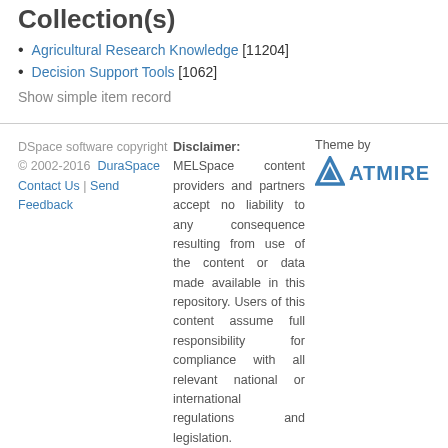Collection(s)
Agricultural Research Knowledge [11204]
Decision Support Tools [1062]
Show simple item record
DSpace software copyright © 2002-2016 DuraSpace Contact Us | Send Feedback
Disclaimer: MELSpace content providers and partners accept no liability to any consequence resulting from use of the content or data made available in this repository. Users of this content assume full responsibility for compliance with all relevant national or international regulations and legislation.
Theme by ATMIRE